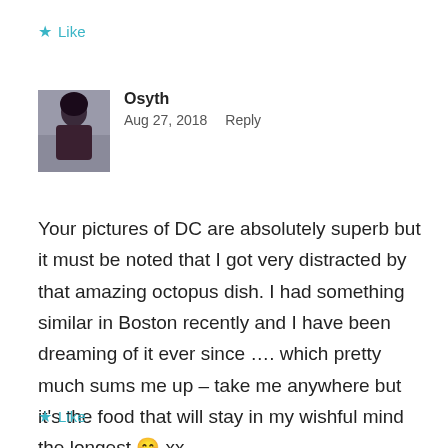★ Like
[Figure (photo): User avatar photo of Osyth, a woman with dark hair]
Osyth
Aug 27, 2018  Reply
Your pictures of DC are absolutely superb but it must be noted that I got very distracted by that amazing octopus dish. I had something similar in Boston recently and I have been dreaming of it ever since …. which pretty much sums me up – take me anywhere but it's the food that will stay in my wishful mind the longest 😊 xx
★ Like